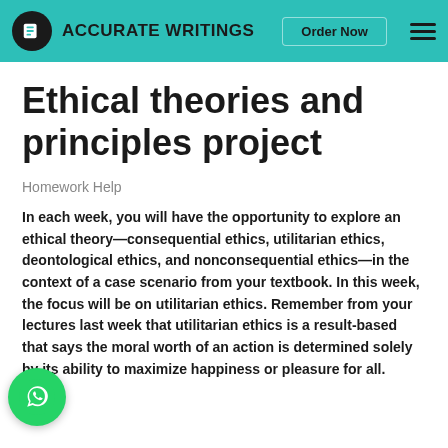Accurate Writings — Order Now
Ethical theories and principles project
Homework Help
In each week, you will have the opportunity to explore an ethical theory—consequential ethics, utilitarian ethics, deontological ethics, and nonconsequential ethics—in the context of a case scenario from your textbook. In this week, the focus will be on utilitarian ethics. Remember from your lectures last week that utilitarian ethics is a result-based that says the moral worth of an action is determined solely by its ability to maximize happiness or pleasure for all.